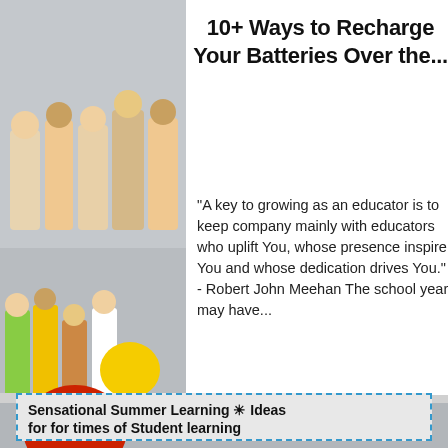10+ Ways to Recharge Your Batteries Over the...
"A key to growing as an educator is to keep company mainly with educators who uplift You, whose presence inspire You and whose dedication drives You." - Robert John Meehan The school year may have...
Continue Reading ..
[Figure (photo): Photo collage of groups of children in a classroom/school setting with colorful speech bubble icons (red, yellow, green) on grey background]
Sensational Summer Learning ☀ Ideas for for times of Student learning